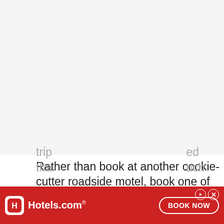[Figure (photo): Large image placeholder area at top of page, light gray background]
Rather than book at another cookie-cutter roadside motel, book one of these one-of-a-kind properties for your trip
[Figure (other): Hotels.com advertisement banner with red background, Hotels.com logo, and BOOK NOW button]